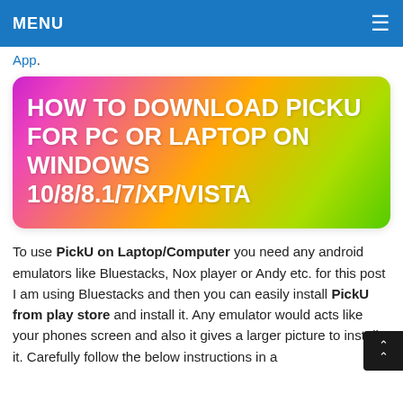MENU ≡
App.
[Figure (infographic): Colorful rounded rectangle banner with gradient background (magenta to orange to green) containing white bold uppercase text: HOW TO DOWNLOAD PICKU FOR PC OR LAPTOP ON WINDOWS 10/8/8.1/7/XP/VISTA]
To use PickU on Laptop/Computer you need any android emulators like Bluestacks, Nox player or Andy etc. for this post I am using Bluestacks and then you can easily install PickU from play store and install it. Any emulator would acts like your phones screen and also it gives a larger picture to install it. Carefully follow the below instructions in a